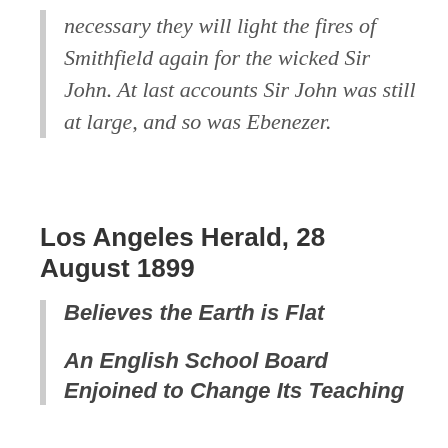necessary they will light the fires of Smithfield again for the wicked Sir John. At last accounts Sir John was still at large, and so was Ebenezer.
Los Angeles Herald, 28 August 1899
Believes the Earth is Flat
An English School Board Enjoined to Change Its Teaching